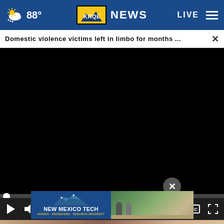[Figure (screenshot): KRQE News website screenshot showing navigation bar with weather (88°), KRQE News logo, LIVE button, and hamburger menu on blue background]
Domestic violence victims left in limbo for months ...
[Figure (screenshot): Black video player area with scrubber bar, play button, mute icon, 00:00 timecode, CC and fullscreen icons]
[Figure (photo): Partially visible photo below video player showing person holding phone, with New Mexico Tech advertisement overlay]
[Figure (logo): New Mexico Tech advertisement banner: blue background with mountain logo, NEW MEXICO TECH text, SCIENCE · ENGINEERING · RESEARCH UNIVERSITY tagline, and campus photo]